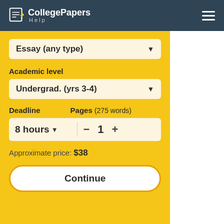[Figure (logo): CollegePapers Help logo with pencil/document icon on dark teal header background]
Essay (any type)
Academic level
Undergrad. (yrs 3-4)
Deadline
Pages (275 words)
8 hours
1
Approximate price: $38
Continue